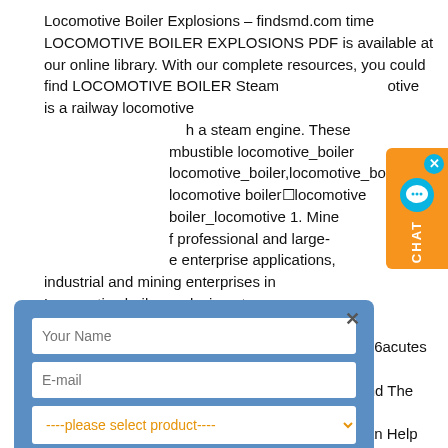Locomotive Boiler Explosions – findsmd.com time LOCOMOTIVE BOILER EXPLOSIONS PDF is available at our online library. With our complete resources, you could find LOCOMOTIVE BOILER Steam otive is a railway locomotive h a steam engine. These mbustible locomotive_boiler locomotive_boiler,locomotive_boil locomotive boiler locomotive boiler_locomotive 1. Mine f professional and large- e enterprise applications, industrial and mining enterprises in Locomotive boiler explosion at sharp,  .pdf  6  384.93K  — / Locomotive boiler explosion at sharp Stewart Co46acutes The Locomotive – Hartford Steam Boiler Inspection and The Locomotive Boiler Operations and Maint enance: How You Can Help Save Fuel, Prevent Damage and Avoid Accidents . The Hartford Steam Boiler
[Figure (screenshot): Contact form modal with fields: Your Name, E-mail, product selector dropdown, capacity text field, and SUBMIT button. Blue background.]